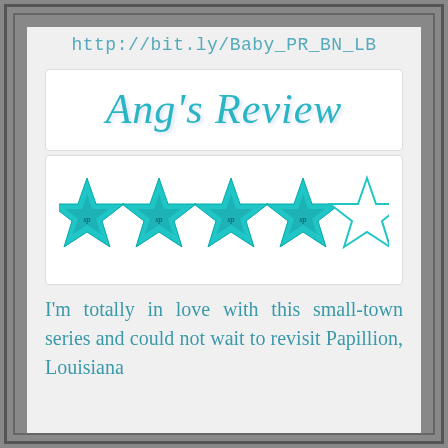http://bit.ly/Baby_PR_BN_LB
[Figure (illustration): Ang's Review logo in teal italic cursive script on white background]
[Figure (illustration): 4 teal 3D stars and 1 outline star indicating a rating of 4 out of 5 stars]
I'm totally in love with this small-town series and could not wait to revisit Papillion, Louisiana